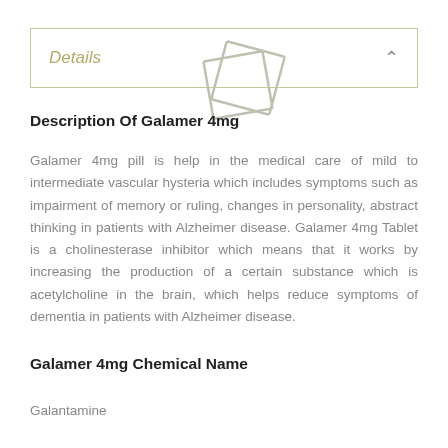Details
[Figure (illustration): Placeholder image icon (two overlapping rectangles outline) in light gray]
Description Of Galamer 4mg
Galamer 4mg pill is help in the medical care of mild to intermediate vascular hysteria which includes symptoms such as impairment of memory or ruling, changes in personality, abstract thinking in patients with Alzheimer disease. Galamer 4mg Tablet is a cholinesterase inhibitor which means that it works by increasing the production of a certain substance which is acetylcholine in the brain, which helps reduce symptoms of dementia in patients with Alzheimer disease.
Galamer 4mg Chemical Name
Galantamine